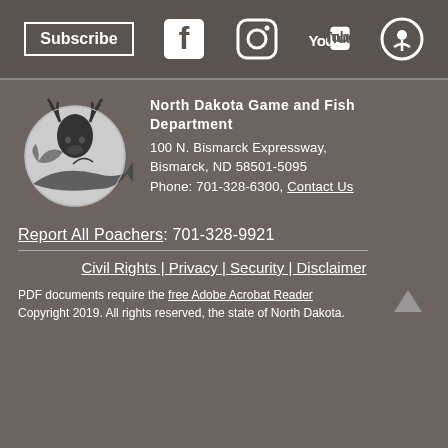[Figure (infographic): Top bar with Subscribe button and social media icons: Facebook, Instagram, YouTube, Podcast]
[Figure (logo): North Dakota Game and Fish Department logo — deer and fish circular illustration]
North Dakota Game and Fish Department
100 N. Bismarck Expressway,
Bismarck, ND 58501-5095
Phone: 701-328-6300, Contact Us
Report All Poachers: 701-328-9921
Civil Rights | Privacy | Security | Disclaimer
PDF documents require the free Adobe Acrobat Reader
Copyright 2019. All rights reserved, the state of North Dakota.